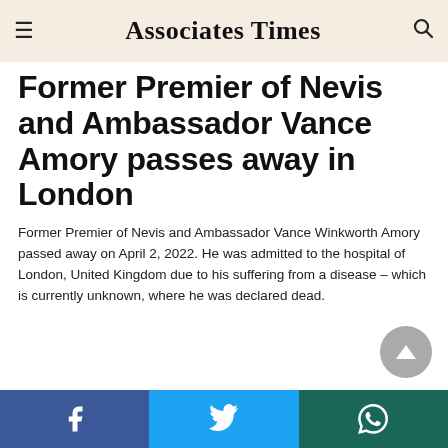Associates Times
Former Premier of Nevis and Ambassador Vance Amory passes away in London
Former Premier of Nevis and Ambassador Vance Winkworth Amory passed away on April 2, 2022. He was admitted to the hospital of London, United Kingdom due to his suffering from a disease – which is currently unknown, where he was declared dead.
Facebook | Twitter | WhatsApp